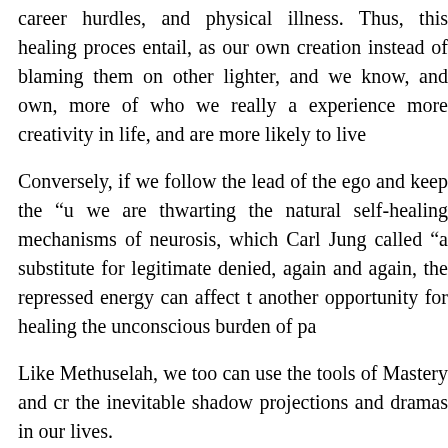career hurdles, and physical illness. Thus, this healing process entail, as our own creation instead of blaming them on other lighter, and we know, and own, more of who we really experience more creativity in life, and are more likely to live
Conversely, if we follow the lead of the ego and keep the “u we are thwarting the natural self-healing mechanisms of neurosis, which Carl Jung called “a substitute for legitimate denied, again and again, the repressed energy can affect t another opportunity for healing the unconscious burden of pa
Like Methuselah, we too can use the tools of Mastery and cr the inevitable shadow projections and dramas in our lives.
Longevity, therefore, is ultimately an expression of conscious
Optimism
Happiness and life satisfaction